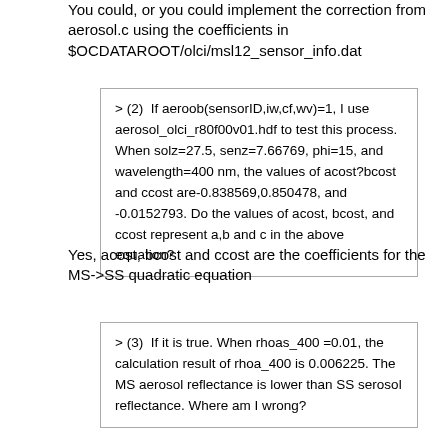You could, or you could implement the correction from aerosol.c using the coefficients in $OCDATAROOT/olci/msl12_sensor_info.dat
> (2)  If aeroob(sensorID,iw,cf,wv)=1, I use aerosol_olci_r80f00v01.hdf to test this process. When solz=27.5, senz=7.66769, phi=15, and wavelength=400 nm, the values of acost?bcost and ccost are-0.838569,0.850478, and -0.0152793. Do the values of acost, bcost, and ccost represent a,b and c in the above equation?
Yes, acost, bcost and ccost are the coefficients for the MS->SS quadratic equation
> (3)  If it is true. When rhoas_400 =0.01, the calculation result of rhoa_400 is 0.006225. The MS aerosol reflectance is lower than SS serosol reflectance. Where am I wrong?